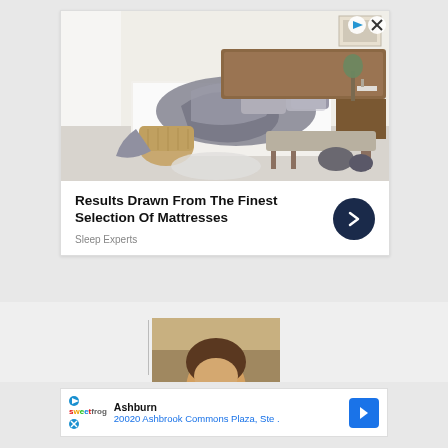[Figure (photo): Advertisement: bedroom photo showing a neatly made bed with gray/white bedding, wooden headboard, a bench at the foot of the bed, and a wicker basket on the floor. Top-right has ad controls (play button and X icon).]
Results Drawn From The Finest Selection Of Mattresses
Sleep Experts
[Figure (photo): Partially visible person with brown hair, cropped image showing head/shoulder area. A vertical divider line is visible to the left.]
Ashburn
20020 Ashbrook Commons Plaza, Ste .